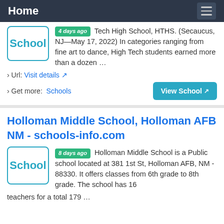Home
Tech High School, HTHS. (Secaucus, NJ—May 17, 2022) In categories ranging from fine art to dance, High Tech students earned more than a dozen …
› Url: Visit details
› Get more: Schools
Holloman Middle School, Holloman AFB NM - schools-info.com
8 days ago Holloman Middle School is a Public school located at 381 1st St, Holloman AFB, NM - 88330. It offers classes from 6th grade to 8th grade. The school has 16 teachers for a total 179 …